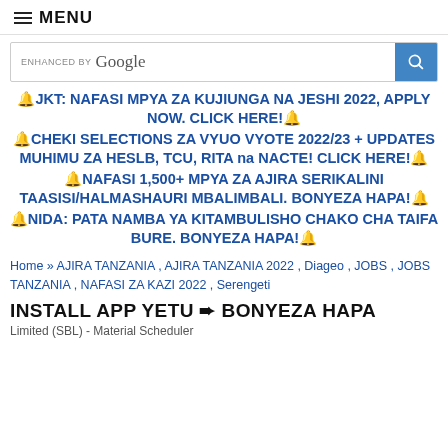≡ MENU
[Figure (other): Google search bar with 'ENHANCED BY Google' text and blue search button]
🔔JKT: NAFASI MPYA ZA KUJIUNGA NA JESHI 2022, APPLY NOW. CLICK HERE!🔔
🔔CHEKI SELECTIONS ZA VYUO VYOTE 2022/23 + UPDATES MUHIMU ZA HESLB, TCU, RITA na NACTE! CLICK HERE!🔔
🔔NAFASI 1,500+ MPYA ZA AJIRA SERIKALINI TAASISI/HALMASHAURI MBALIMBALI. BONYEZA HAPA!🔔
🔔NIDA: PATA NAMBA YA KITAMBULISHO CHAKO CHA TAIFA BURE. BONYEZA HAPA!🔔
Home » AJIRA TANZANIA , AJIRA TANZANIA 2022 , Diageo , JOBS , JOBS TANZANIA , NAFASI ZA KAZI 2022 , Serengeti
INSTALL APP YETU ➨ BONYEZA HAPA
Limited (SBL) - Material Scheduler